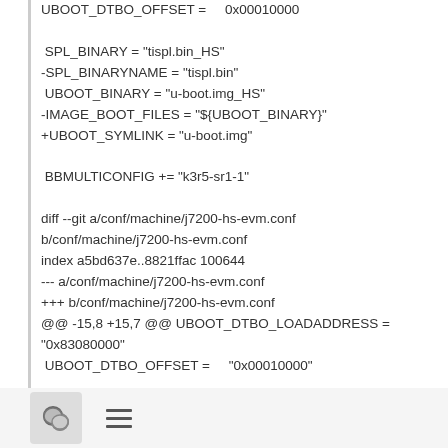UBOOT_DTBO_OFFSET =     0x00010000

 SPL_BINARY = "tispl.bin_HS"
-SPL_BINARYNAME = "tispl.bin"
 UBOOT_BINARY = "u-boot.img_HS"
-IMAGE_BOOT_FILES = "${UBOOT_BINARY}"
+UBOOT_SYMLINK = "u-boot.img"

 BBMULTICONFIG += "k3r5-sr1-1"

diff --git a/conf/machine/j7200-hs-evm.conf b/conf/machine/j7200-hs-evm.conf
index a5bd637e..8821ffac 100644
--- a/conf/machine/j7200-hs-evm.conf
+++ b/conf/machine/j7200-hs-evm.conf
@@ -15,8 +15,7 @@ UBOOT_DTBO_LOADADDRESS = "0x83080000"
 UBOOT_DTBO_OFFSET =     "0x00010000"

-SPL_BINARY = "tispl.bin_HS"
[chat icon] [menu icon]